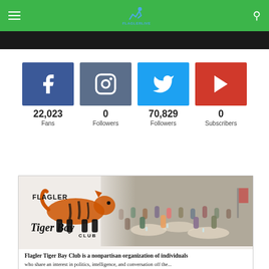FlaglerLive header navigation bar with hamburger menu, logo, and search icon
[Figure (infographic): Social media stats: Facebook 22,023 Fans; Instagram 0 Followers; Twitter 70,829 Followers; YouTube 0 Subscribers]
[Figure (illustration): Flagler Tiger Bay Club advertisement with logo (orange tiger) and event photo showing attendees at a banquet. Text: 'Flagler Tiger Bay Club is a nonpartisan organization of individuals']